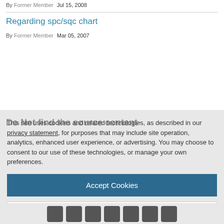By Former Member   Jul 15, 2008
Regarding spc/sqc chart
By Former Member   Mar 05, 2007
This site uses cookies and related technologies, as described in our privacy statement, for purposes that may include site operation, analytics, enhanced user experience, or advertising. You may choose to consent to our use of these technologies, or manage your own preferences.
Accept Cookies
More Information
Privacy Policy | Powered by: TrustArc